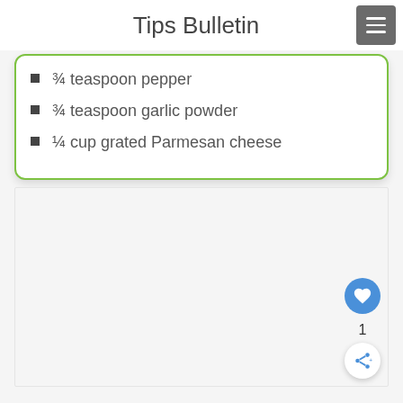Tips Bulletin
¾ teaspoon pepper
¾ teaspoon garlic powder
¼ cup grated Parmesan cheese
[Figure (other): Light gray content area with floating action buttons: a blue heart/like button, a count of 1, and a white share button with a share icon in the lower right corner.]